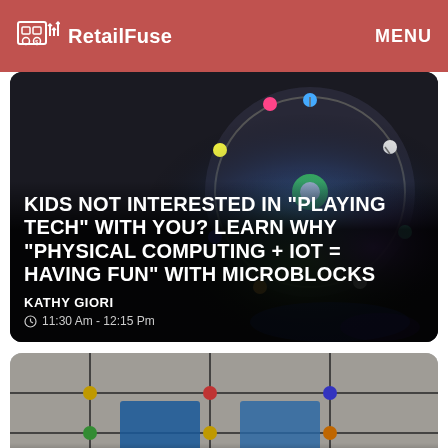RetailFuse   MENU
[Figure (photo): Dark background with a circular LED light-up microcontroller board emitting colorful lights (green, blue, purple), used as background for article card 1]
KIDS NOT INTERESTED IN "PLAYING TECH" WITH YOU? LEARN WHY "PHYSICAL COMPUTING + IOT = HAVING FUN" WITH MICROBLOCKS
KATHY GIORI
11:30 Am - 12:15 Pm
[Figure (photo): Person's hands working on a pegboard or circuit/planning board with colored pegs and blue cards, representing digital/AI retail transformation]
23
JUL
DIGITAL TRANSFORMATION: HOW ARTIFICIAL INTELLIGENCE IS REVOLUTIONIZING RETAIL
MATT FORNITO